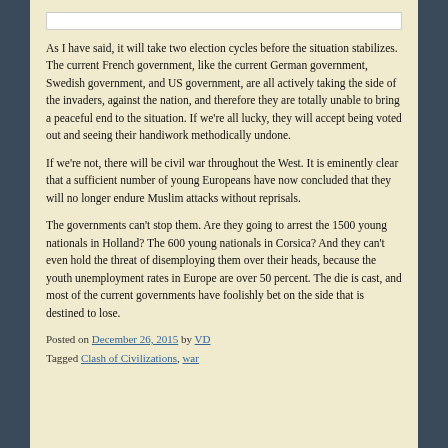As I have said, it will take two election cycles before the situation stabilizes. The current French government, like the current German government, Swedish government, and US government, are all actively taking the side of the invaders, against the nation, and therefore they are totally unable to bring a peaceful end to the situation. If we're all lucky, they will accept being voted out and seeing their handiwork methodically undone.
If we're not, there will be civil war throughout the West. It is eminently clear that a sufficient number of young Europeans have now concluded that they will no longer endure Muslim attacks without reprisals.
The governments can't stop them. Are they going to arrest the 1500 young nationals in Holland? The 600 young nationals in Corsica? And they can't even hold the threat of disemploying them over their heads, because the youth unemployment rates in Europe are over 50 percent. The die is cast, and most of the current governments have foolishly bet on the side that is destined to lose.
Posted on December 26, 2015 by VD
Tagged Clash of Civilizations, war